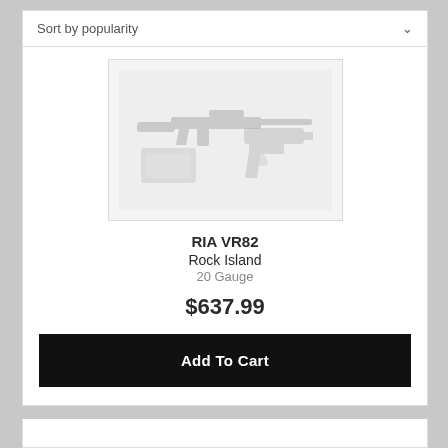Sort by popularity
[Figure (illustration): Placeholder product image showing silhouettes of a rifle, handgun, and ammunition box on a light grey background]
RIA VR82
Rock Island
20 Gauge
$637.99
Add To Cart